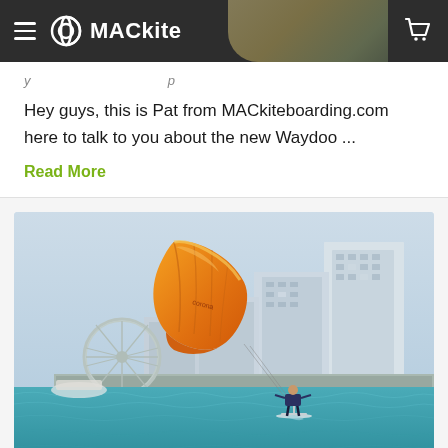MACkite
Hey guys, this is Pat from MACkiteboarding.com here to talk to you about the new Waydoo ...
Read More
[Figure (photo): A kiteboarding athlete foiling on turquoise water with an orange kite in the air, with a city skyline and a ferris wheel visible in the background]